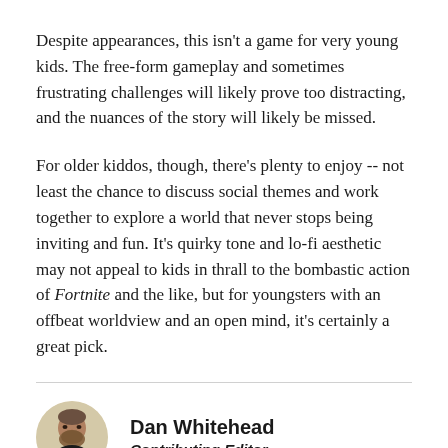Despite appearances, this isn't a game for very young kids. The free-form gameplay and sometimes frustrating challenges will likely prove too distracting, and the nuances of the story will likely be missed.
For older kiddos, though, there's plenty to enjoy -- not least the chance to discuss social themes and work together to explore a world that never stops being inviting and fun. It's quirky tone and lo-fi aesthetic may not appeal to kids in thrall to the bombastic action of Fortnite and the like, but for youngsters with an offbeat worldview and an open mind, it's certainly a great pick.
[Figure (photo): Circular portrait photo of Dan Whitehead, a man with a beard, against a dark background]
Dan Whitehead
Contributing Editor